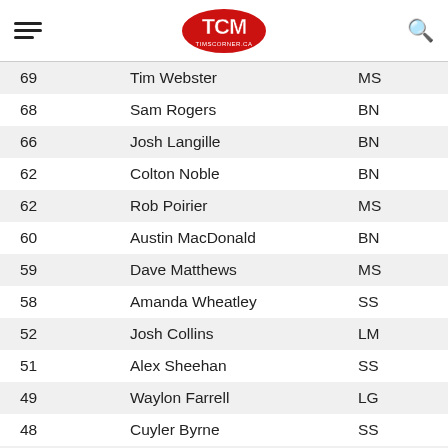TCM timscorner.ca
| Points | Name | Class |
| --- | --- | --- |
| 69 | Tim Webster | MS |
| 68 | Sam Rogers | BN |
| 66 | Josh Langille | BN |
| 62 | Colton Noble | BN |
| 62 | Rob Poirier | MS |
| 60 | Austin MacDonald | BN |
| 59 | Dave Matthews | MS |
| 58 | Amanda Wheatley | SS |
| 52 | Josh Collins | LM |
| 51 | Alex Sheehan | SS |
| 49 | Waylon Farrell | LG |
| 48 | Cuyler Byrne | SS |
| 48 | Shelby Baker | LG |
| 47 | Nathan Langille | BN |
| 46 | James Matchett | SS |
| 46 | Michael Cormier | SS |